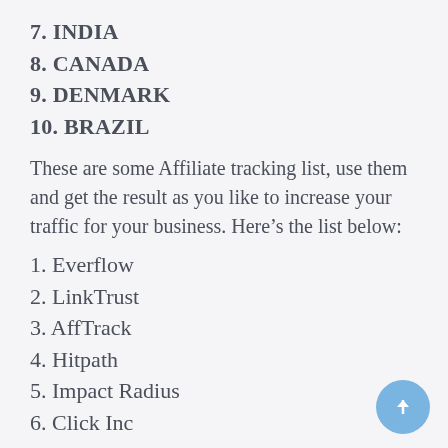7. INDIA
8. CANADA
9. DENMARK
10. BRAZIL
These are some Affiliate tracking list, use them and get the result as you like to increase your traffic for your business. Here’s the list below:
1. Everflow
2. LinkTrust
3. AffTrack
4. Hitpath
5. Impact Radius
6. Click Inc